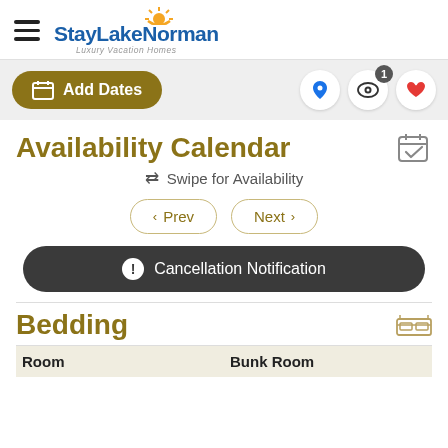[Figure (logo): StayLakeNorman Luxury Vacation Homes logo with sun graphic and blue text]
Add Dates
[Figure (infographic): Toolbar icons: location pin, eye with badge 1, heart]
Availability Calendar
⇄ Swipe for Availability
< Prev   Next >
! Cancellation Notification
Bedding
| Room | Bunk Room |
| --- | --- |